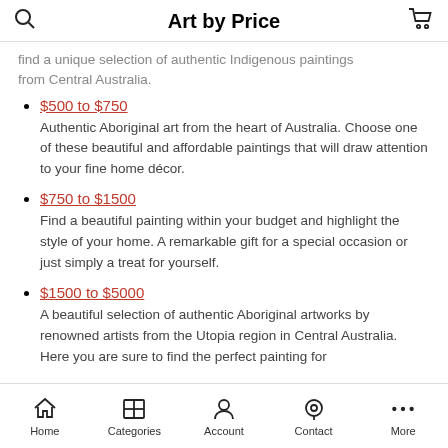Art by Price
find a unique selection of authentic Indigenous paintings from Central Australia.
$500 to $750 — Authentic Aboriginal art from the heart of Australia. Choose one of these beautiful and affordable paintings that will draw attention to your fine home décor.
$750 to $1500 — Find a beautiful painting within your budget and highlight the style of your home. A remarkable gift for a special occasion or just simply a treat for yourself.
$1500 to $5000 — A beautiful selection of authentic Aboriginal artworks by renowned artists from the Utopia region in Central Australia. Here you are sure to find the perfect painting for
Home  Categories  Account  Contact  More